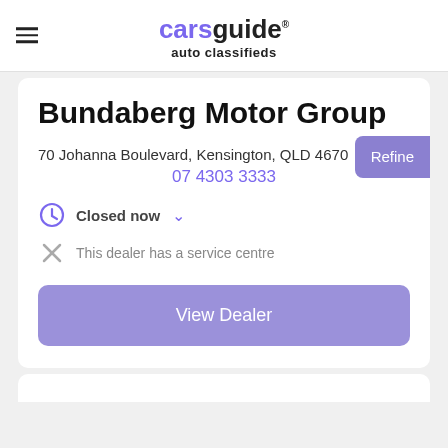carsguide auto classifieds
Bundaberg Motor Group
70 Johanna Boulevard, Kensington, QLD 4670
07 4303 3333
Closed now
This dealer has a service centre
View Dealer